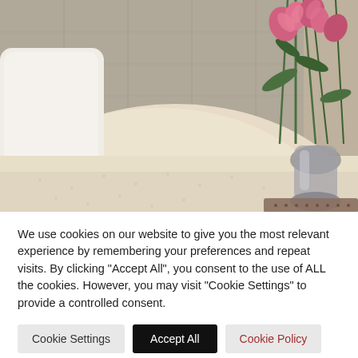[Figure (photo): Hotel room close-up photo showing white/cream pillows on a bed with a grey upholstered headboard, and pink flowers in a glass vase on a bedside table with a decorative tray]
We use cookies on our website to give you the most relevant experience by remembering your preferences and repeat visits. By clicking "Accept All", you consent to the use of ALL the cookies. However, you may visit "Cookie Settings" to provide a controlled consent.
Cookie Settings
Accept All
Cookie Policy